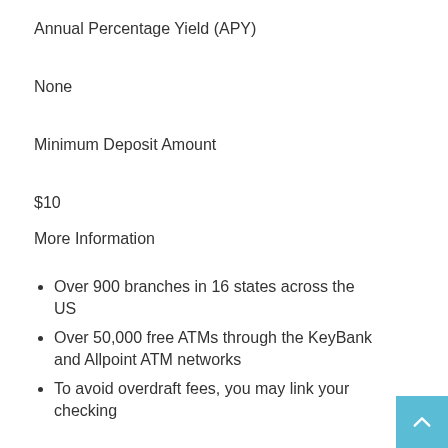Annual Percentage Yield (APY)
None
Minimum Deposit Amount
$10
More Information
Over 900 branches in 16 states across the US
Over 50,000 free ATMs through the KeyBank and Allpoint ATM networks
To avoid overdraft fees, you may link your checking